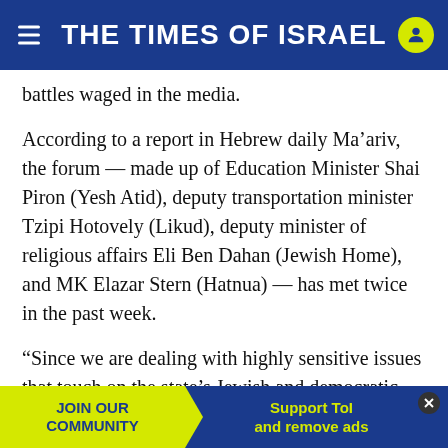THE TIMES OF ISRAEL
battles waged in the media.
According to a report in Hebrew daily Ma’ariv, the forum — made up of Education Minister Shai Piron (Yesh Atid), deputy transportation minister Tzipi Hotovely (Likud), deputy minister of religious affairs Eli Ben Dahan (Jewish Home), and MK Elazar Stern (Hatnua) — has met twice in the past week.
“Since we are dealing with highly sensitive issues that touch on the state’s Jewish and democratic character, we decided to make the effort to cooperate,” one of the forum’s members said. “We promi... ng the ot... at
[Figure (other): Advertisement banner at bottom: JOIN OUR COMMUNITY (yellow/green background) with arrow pointing right to 'Support ToI and remove ads' (blue background) with close button]